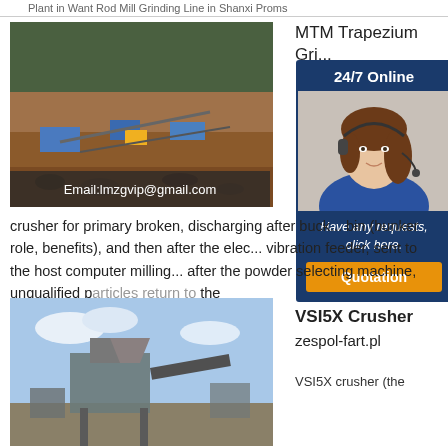Plant in Want Rod Mill Grinding Line in Shanxi Proms
[Figure (photo): Aerial view of a mining/crushing plant site with conveyor belts, machinery, and mountainous terrain in the background. Email overlay: Email:lmzgvip@gmail.com]
MTM Trapezium Grinder
[Figure (infographic): 24/7 Online chat widget showing a woman with a headset, text 'Have any requests, click here.' and a Quotation button]
crusher for primary broken, discharging after bucket bin (bunker role, benefits), and then after the electro vibration feeder, sent to the host computer milling after the powder selecting machine, unqualified particles return to the
[Figure (photo): Industrial crusher/screening plant with machinery against a blue sky]
VSI5X Crusher zespol-fart.pl
VSI5X crusher (the